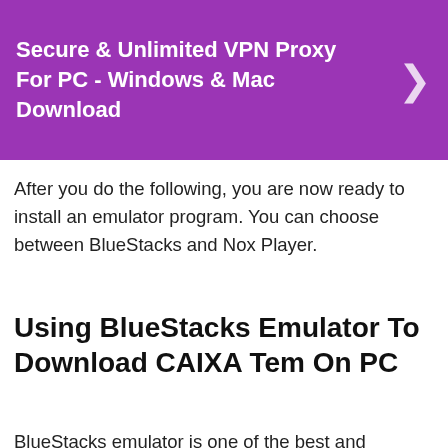[Figure (screenshot): Purple banner advertisement for Secure & Unlimited VPN Proxy For PC - Windows & Mac Download with a right-pointing chevron arrow]
After you do the following, you are now ready to install an emulator program. You can choose between BlueStacks and Nox Player.
Using BlueStacks Emulator To Download CAIXA Tem On PC
BlueStacks emulator is one of the best and popular emulators. Many users love it because of its simplicity and ease of use. The CAIXA Tem is also compatible with it and works perfectly. To get this emulator work on your computer, yo